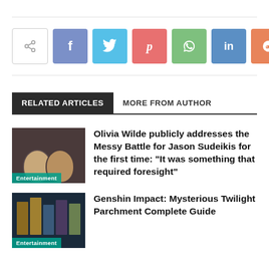[Figure (infographic): Social share button bar with icons: share (gray), Facebook (blue-purple), Twitter (cyan), Pinterest (red-pink), WhatsApp (green), LinkedIn (blue), Reddit (orange), plus (gray)]
RELATED ARTICLES	MORE FROM AUTHOR
[Figure (photo): Thumbnail of two people (Olivia Wilde and Jason Sudeikis) with Entertainment label]
Olivia Wilde publicly addresses the Messy Battle for Jason Sudeikis for the first time: “It was something that required foresight”
[Figure (photo): Thumbnail of Genshin Impact game book spines with Entertainment label]
Genshin Impact: Mysterious Twilight Parchment Complete Guide